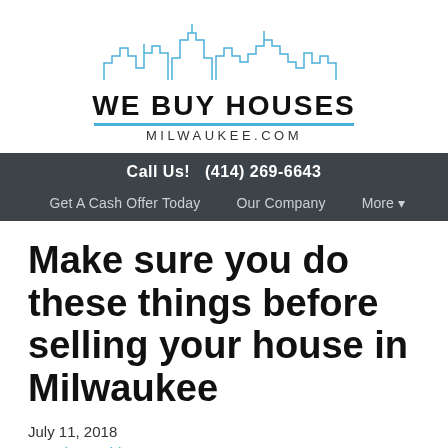[Figure (logo): We Buy Houses Milwaukee.com logo with city skyline illustration in blue outline above bold uppercase text WE BUY HOUSES with a blue horizontal rule and MILWAUKEE.COM below]
Call Us!   (414) 269-6643
Get A Cash Offer Today   Our Company   More ▾
Make sure you do these things before selling your house in Milwaukee
July 11, 2018
By Brian Meidam